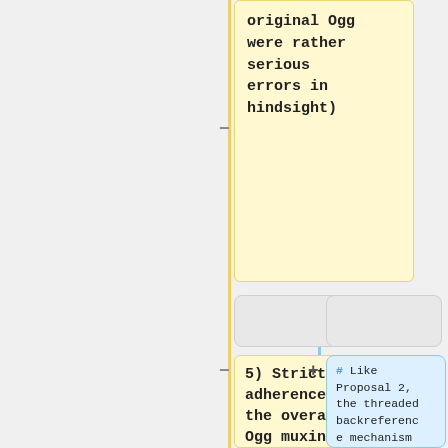original Ogg were rather serious errors in hindsight)
5) Strict adherence to the overall Ogg muxing philosophy of having
# Like Proposal 2, the threaded backreference mechanism means seeking makes use of two ~ unrelated mechanisms instead of one. The threaded